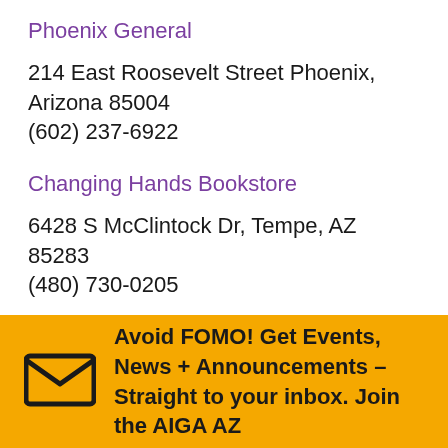Phoenix General
214 East Roosevelt Street Phoenix, Arizona 85004
(602) 237-6922
Changing Hands Bookstore
6428 S McClintock Dr, Tempe, AZ 85283
(480) 730-0205
Avoid FOMO! Get Events, News + Announcements – Straight to your inbox. Join the AIGA AZ